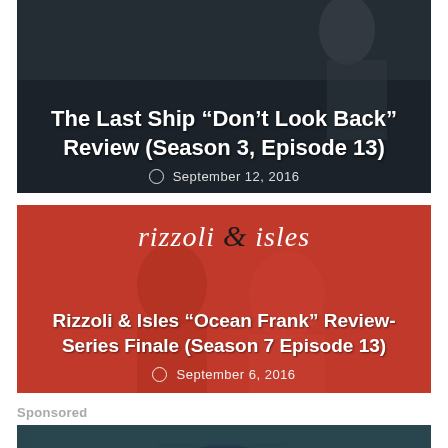[Figure (screenshot): Article card thumbnail with dark background showing The Last Ship 'Don't Look Back' Review (Season 3, Episode 13), dated September 12, 2016]
The Last Ship “Don’t Look Back” Review (Season 3, Episode 13)
September 12, 2016
[Figure (screenshot): Article card with red background showing Rizzoli & Isles logo and two women in red outfits. Title: Rizzoli & Isles “Ocean Frank” Review- Series Finale (Season 7 Episode 13), dated September 6, 2016]
Rizzoli & Isles “Ocean Frank” Review- Series Finale (Season 7 Episode 13)
September 6, 2016
Sponsored
[Figure (photo): Partially visible sponsored content card showing a dark teal/navy textured background with what appears to be a handbag or accessory]